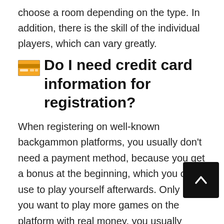choose a room depending on the type. In addition, there is the skill of the individual players, which can vary greatly.
🏧 Do I need credit card information for registration?
When registering on well-known backgammon platforms, you usually don't need a payment method, because you get a bonus at the beginning, which you can use to play yourself afterwards. Only if you want to play more games on the platform with real money, you usually need a way to refill your account. This can be done by credit card, Pay... bank transfer.
❓ What free backgammon games